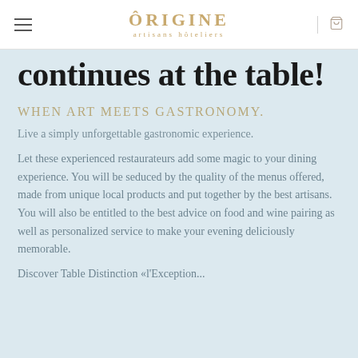ÔRIGINE artisans hôteliers
continues at the table!
WHEN ART MEETS GASTRONOMY.
Live a simply unforgettable gastronomic experience.
Let these experienced restaurateurs add some magic to your dining experience. You will be seduced by the quality of the menus offered, made from unique local products and put together by the best artisans. You will also be entitled to the best advice on food and wine pairing as well as personalized service to make your evening deliciously memorable.
Discover Table Distinction «l'Exception...